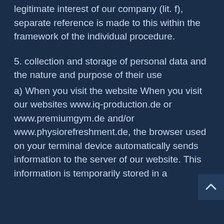legitimate interest of our company (lit. f), separate reference is made to this within the framework of the individual procedure.
5. collection and storage of personal data and the nature and purpose of their use
a) When you visit the website When you visit our websites www.iq-production.de or www.premiumgym.de and/or www.physiorefreshment.de, the browser used on your terminal device automatically sends information to the server of our website. This information is temporarily stored in a